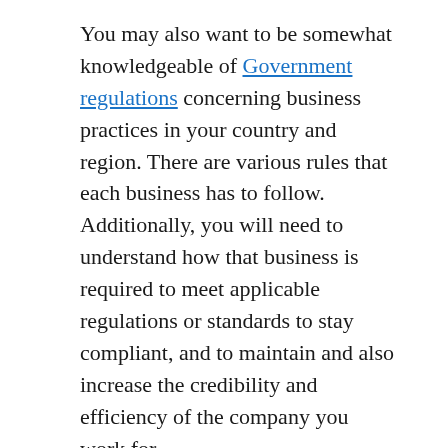You may also want to be somewhat knowledgeable of Government regulations concerning business practices in your country and region. There are various rules that each business has to follow. Additionally, you will need to understand how that business is required to meet applicable regulations or standards to stay compliant, and to maintain and also increase the credibility and efficiency of the company you work for.
Personnel skills are commonly required of office managers, particularly those who will certainly be employed by firms large in size. As an office supervisor, you will likely come into contact with a variety of people, including your